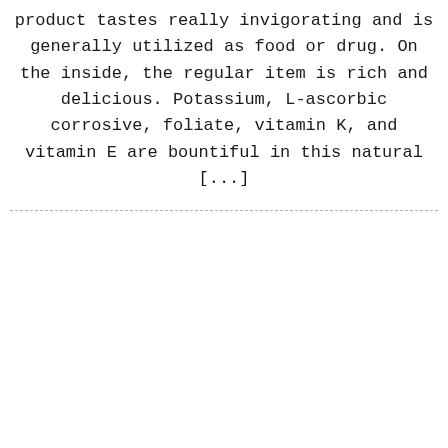product tastes really invigorating and is generally utilized as food or drug. On the inside, the regular item is rich and delicious. Potassium, L-ascorbic corrosive, foliate, vitamin K, and vitamin E are bountiful in this natural [...]